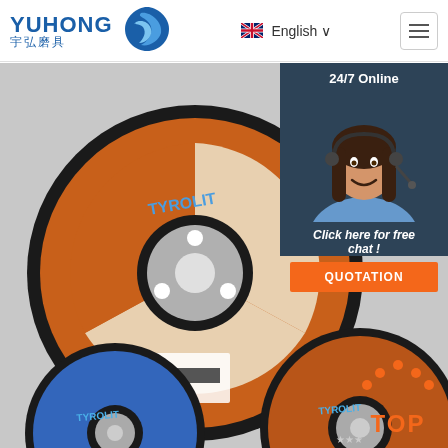[Figure (logo): YUHONG 宇弘磨具 logo with blue wave icon]
English ∨
[Figure (photo): Multiple abrasive grinding/cutting discs on gray background including orange TYROLIT disc in foreground and blue discs]
24/7 Online
[Figure (photo): Customer service representative with headset smiling]
Click here for free chat !
QUOTATION
TOP